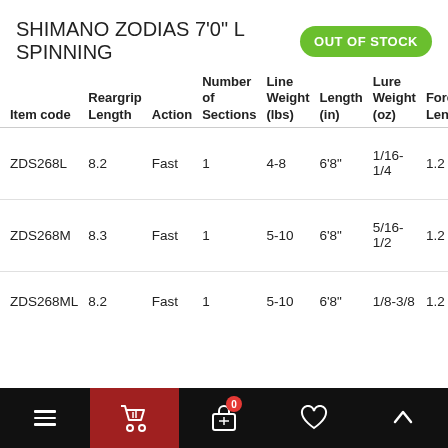SHIMANO ZODIAS 7'0" L SPINNING
OUT OF STOCK
| Item code | Reargrip Length | Action | Number of Sections | Line Weight (lbs) | Length (in) | Lure Weight (oz) | Foregrip Length |
| --- | --- | --- | --- | --- | --- | --- | --- |
| ZDS268L | 8.2 | Fast | 1 | 4-8 | 6'8" | 1/16-1/4 | 1.2 |
| ZDS268M | 8.3 | Fast | 1 | 5-10 | 6'8" | 5/16-1/2 | 1.2 |
| ZDS268ML | 8.2 | Fast | 1 | 5-10 | 6'8" | 1/8-3/8 | 1.2 |